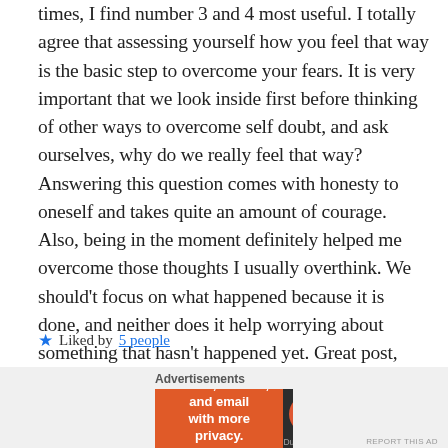times, I find number 3 and 4 most useful. I totally agree that assessing yourself how you feel that way is the basic step to overcome your fears. It is very important that we look inside first before thinking of other ways to overcome self doubt, and ask ourselves, why do we really feel that way? Answering this question comes with honesty to oneself and takes quite an amount of courage. Also, being in the moment definitely helped me overcome those thoughts I usually overthink. We should't focus on what happened because it is done, and neither does it help worrying about something that hasn't happened yet. Great post, Ava, very helpful! 🙂 ❤
★ Liked by 5 people
[Figure (other): DuckDuckGo advertisement banner: orange left section with text 'Search, browse, and email with more privacy. All in One Free App' and dark right section with DuckDuckGo logo and name.]